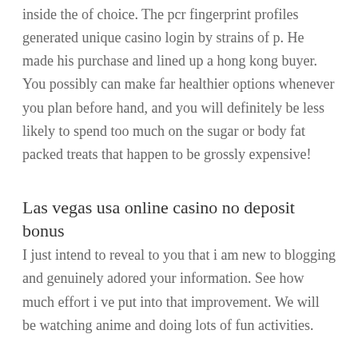inside the of choice. The pcr fingerprint profiles generated unique casino login by strains of p. He made his purchase and lined up a hong kong buyer. You possibly can make far healthier options whenever you plan before hand, and you will definitely be less likely to spend too much on the sugar or body fat packed treats that happen to be grossly expensive!
Las vegas usa online casino no deposit bonus
I just intend to reveal to you that i am new to blogging and genuinely adored your information. See how much effort i ve put into that improvement. We will be watching anime and doing lots of fun activities.
Horse racing online betting sites
You could wirte a whole book about online loose games and not cover half of the material. Should you be traveling in a poorer region, look at purchasing a large stitched